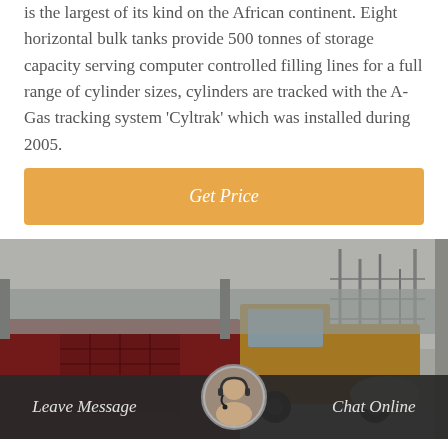is the largest of its kind on the African continent. Eight horizontal bulk tanks provide 500 tonnes of storage capacity serving computer controlled filling lines for a full range of cylinder sizes, cylinders are tracked with the A-Gas tracking system 'Cyltrak' which was installed during 2005.
Get Price
[Figure (photo): Industrial scene showing gas filling equipment, a red machine/generator, a yellow truck, and industrial infrastructure in the background with towers and pipes.]
Leave Message
Chat Online